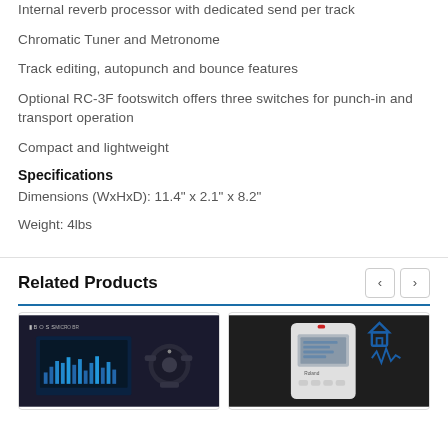Internal reverb processor with dedicated send per track
Chromatic Tuner and Metronome
Track editing, autopunch and bounce features
Optional RC-3F footswitch offers three switches for punch-in and transport operation
Compact and lightweight
Specifications
Dimensions (WxHxD): 11.4" x 2.1" x 8.2"
Weight: 4lbs
Related Products
[Figure (photo): BOSS product image - digital recorder with dark interface and screen showing waveform display]
[Figure (photo): Roland product image - white/light colored portable recorder device with screen, red indicator and home icon overlay]